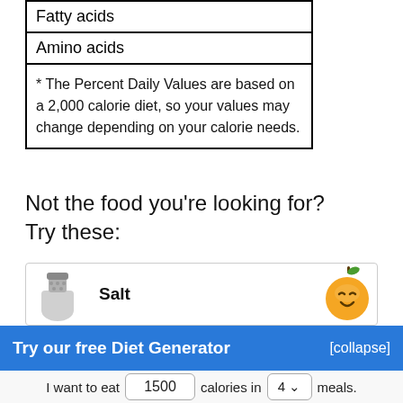| Fatty acids |
| Amino acids |
| * The Percent Daily Values are based on a 2,000 calorie diet, so your values may change depending on your calorie needs. |
Not the food you're looking for?
Try these:
[Figure (illustration): Salt shaker icon and orange cartoon mascot character]
Salt
Try our free Diet Generator
[collapse]
I want to eat 1500 calories in 4 meals.
Generate